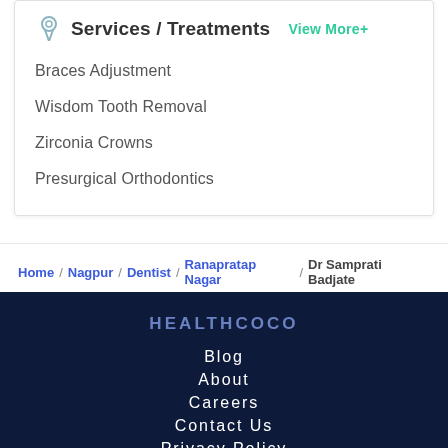Services / Treatments  View More+
Braces Adjustment
Wisdom Tooth Removal
Zirconia Crowns
Presurgical Orthodontics
Home / Nagpur / Dentist / Ranapratap Nagar / Dr Samprati Badjate
HEALTHCOCO
Blog
About
Careers
Contact Us
Privacy Policy